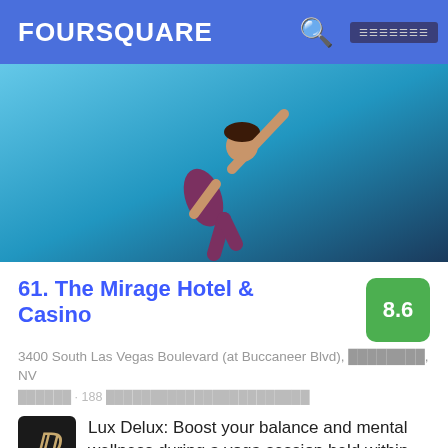FOURSQUARE
[Figure (photo): Person doing a yoga pose against a blue aquatic background]
61. The Mirage Hotel & Casino
8.6
3400 South Las Vegas Boulevard (at Buccaneer Blvd), ░░░░░░░░, NV
░░░░░░ · 188 ░░░░░░░░░░░░░░░░░░░░░░░░
Lux Delux: Boost your balance and mental wellness during a yoga session held within the underwater dolphin viewing area, a 60-minute escape that alleviates stress, restoring you to a blissful state of peace.